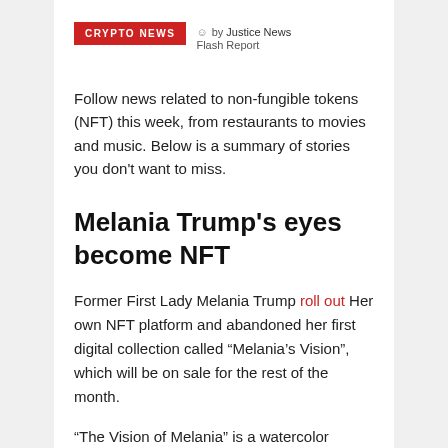CRYPTO NEWS by Justice News Flash Report
Follow news related to non-fungible tokens (NFT) this week, from restaurants to movies and music. Below is a summary of stories you don't want to miss.
Melania Trump's eyes become NFT
Former First Lady Melania Trump roll out Her own NFT platform and abandoned her first digital collection called “Melania’s Vision”, which will be on sale for the rest of the month.
“The Vision of Melania” is a watercolor